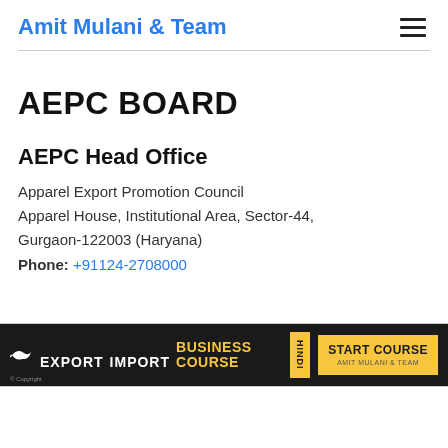Amit Mulani & Team
AEPC BOARD
AEPC Head Office
Apparel Export Promotion Council Apparel House, Institutional Area, Sector-44, Gurgaon-122003 (Haryana) Phone: +91124-2708000
[Figure (infographic): Advertisement banner for Export Import Business Course in Hindi with a Start Course button and Amit Mulani & Team branding]